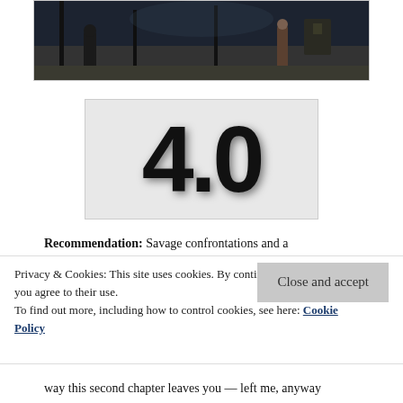[Figure (photo): Dark scene showing two figures standing in what appears to be a dimly lit outdoor or indoor setting at night, with vertical posts/pillars visible]
[Figure (other): Large bold text '4.0' displayed on a light grey background box, representing a rating score]
Recommendation: Savage confrontations and a
Privacy & Cookies: This site uses cookies. By continuing to use this website, you agree to their use.
To find out more, including how to control cookies, see here: Cookie Policy
way this second chapter leaves you — left me, anyway